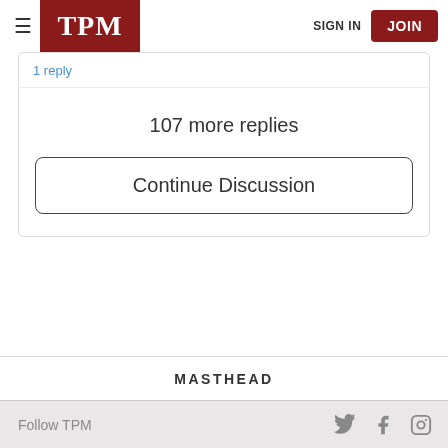TPM — SIGN IN | JOIN
1 reply
107 more replies
Continue Discussion
MASTHEAD
Follow TPM